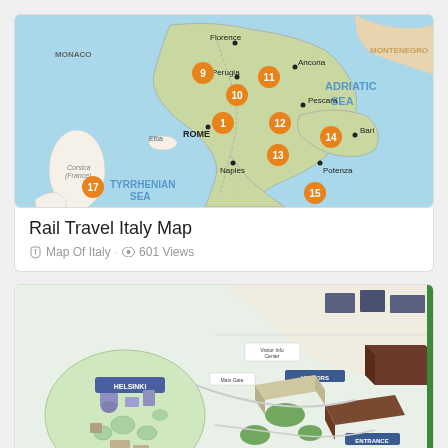[Figure (map): Rail Travel Italy Map showing central and southern Italy with numbered orange circle markers (1, 9, 10, 11, 12, 13, 14, 15, 17) indicating train routes/stops. Cities labeled include Florence, Ancona, Perugia, Pescara, Rome, Naples, Bari, Potenza. Geographic features labeled include Adriatic Sea, Tyrrhenian Sea, Elba, Corsica (France), Monaco, Montenegro.]
Rail Travel Italy Map
Map Of Italy · 601 Views
[Figure (map): An isometric/bird's-eye view map of what appears to be a theme park or entertainment complex, showing buildings, pathways, green areas, and various structures in a detailed illustrated style.]